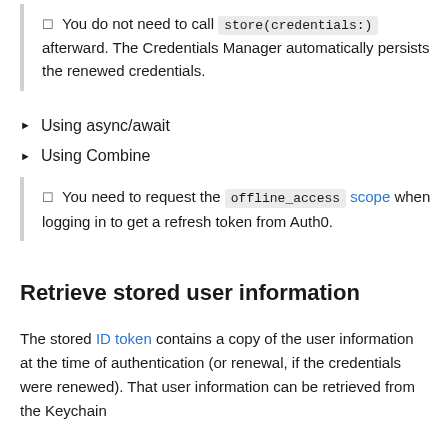You do not need to call store(credentials:) afterward. The Credentials Manager automatically persists the renewed credentials.
Using async/await
Using Combine
You need to request the offline_access scope when logging in to get a refresh token from Auth0.
Retrieve stored user information
The stored ID token contains a copy of the user information at the time of authentication (or renewal, if the credentials were renewed). That user information can be retrieved from the Keychain